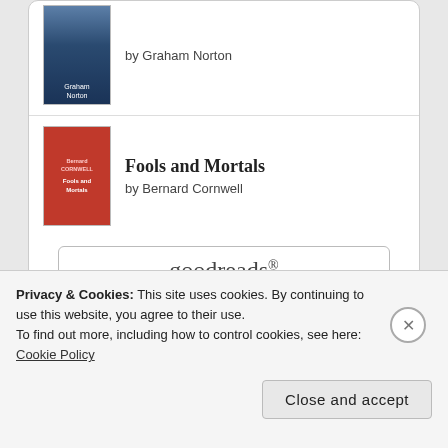[Figure (illustration): Book cover for Graham Norton book — blue gradient cover with author name]
by Graham Norton
Fools and Mortals
[Figure (illustration): Book cover for Fools and Mortals by Bernard Cornwell — red cover]
by Bernard Cornwell
[Figure (logo): goodreads logo button with rounded rectangle border]
Aviso à navegação
Privacy & Cookies: This site uses cookies. By continuing to use this website, you agree to their use.
To find out more, including how to control cookies, see here: Cookie Policy
Close and accept